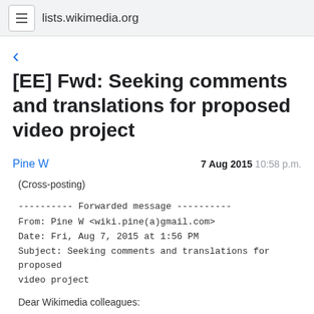lists.wikimedia.org
[EE] Fwd: Seeking comments and translations for proposed video project
Pine W   7 Aug 2015  10:58 p.m.
(Cross-posting)

---------- Forwarded message ----------
From: Pine W <lt;wiki.pine(a)gmail.com&gt;
Date: Fri, Aug 7, 2015 at 1:56 PM
Subject: Seeking comments and translations for proposed video project

Dear Wikimedia colleagues: